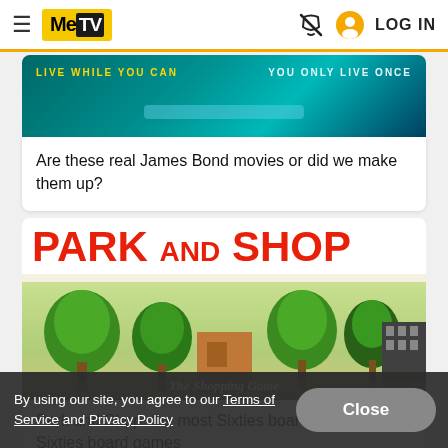MeTV — LOG IN
[Figure (screenshot): Partial image from a James Bond movie article, teal/cyan colored background with text 'LIVE WHILE YOU CAN' and 'YOU ONLY LIVE ONCE']
Are these real James Bond movies or did we make them up?
[Figure (photo): Park and Shop board game box cover showing large red text 'PARK AND SHOP' with illustrated trees, shops, and suburban street scene]
Park and Shop: the most Sixties board game of all Sixties board games
By using our site, you agree to our Terms of Service and Privacy Policy
Close